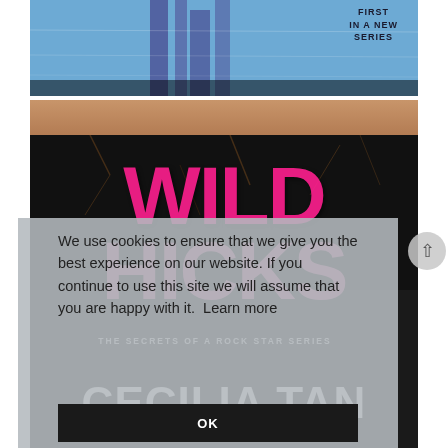[Figure (photo): Top portion of a book cover with blue aquatic background and text 'FIRST IN A NEW SERIES' in the upper right corner, partially visible.]
[Figure (photo): Bottom book cover for 'Wild Hicks' by Cecilia Tan, The Secrets of a Rock Star Series. Shows pink bold text 'WILD' and lighter pink 'HICKS', with dark cracked texture background, skin/shoulder visible at top, series subtitle bar, and author name at bottom.]
We use cookies to ensure that we give you the best experience on our website. If you continue to use this site we will assume that you are happy with it.  Learn more
OK